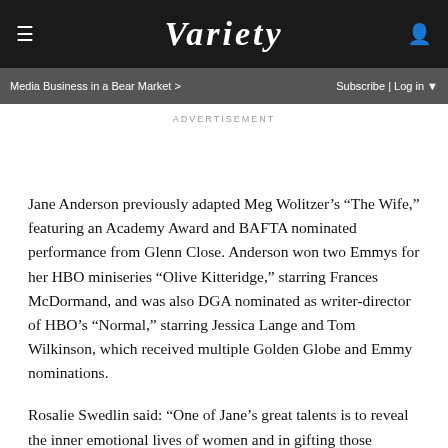VARIETY
Media Business in a Bear Market > Subscribe | Log in
ADVERTISEMENT
Jane Anderson previously adapted Meg Wolitzer’s “The Wife,” featuring an Academy Award and BAFTA nominated performance from Glenn Close. Anderson won two Emmys for her HBO miniseries “Olive Kitteridge,” starring Frances McDormand, and was also DGA nominated as writer-director of HBO’s “Normal,” starring Jessica Lange and Tom Wilkinson, which received multiple Golden Globe and Emmy nominations.
Rosalie Swedlin said: “One of Jane’s great talents is to reveal the inner emotional lives of women and in gifting those revelations to actresses, allowing them to deliver award-winning, timelessly memorable performances. And in Kristin,